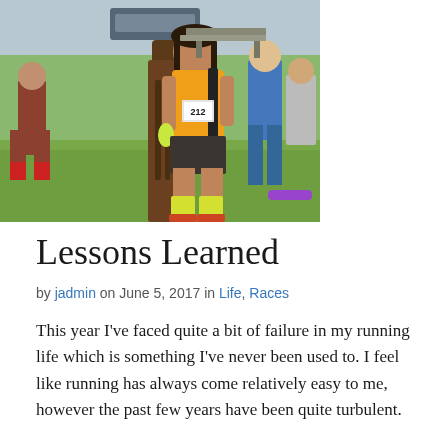[Figure (photo): A runner wearing an orange tank top, camouflage shorts, and yellow-green compression socks, standing in front of a tree at what appears to be a race event. She is wearing race bib number 212 and holding a water bottle. Other racers and spectators are visible in the background on a grassy field.]
Lessons Learned
by jadmin on June 5, 2017 in Life, Races
This year I've faced quite a bit of failure in my running life which is something I've never been used to.  I feel like running has always come relatively easy to me, however the past few years have been quite turbulent.